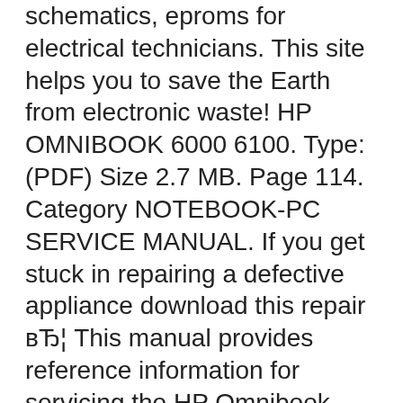schematics, eproms for electrical technicians. This site helps you to save the Earth from electronic waste! HP OMNIBOOK 6000 6100. Type: (PDF) Size 2.7 MB. Page 114. Category NOTEBOOK-PC SERVICE MANUAL. If you get stuck in repairing a defective appliance download this repair вЂ¦ This manual provides reference information for servicing the HP Omnibook 6000/6100. It is for use by HP-authorized service personnel while installing, servicing, and repairing these products. The manual is designed as a self-paced guide that will train you to install, configure, and repair Omnibook 6000/6100 computers. The manual is self